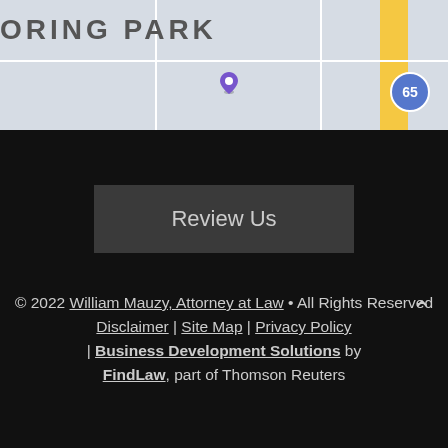[Figure (map): Street map showing intersection near law office, with road grid, yellow vertical road stripe, and blue circle badge with number 65]
Review Us
© 2022 William Mauzy, Attorney at Law • All Rights Reserved
Disclaimer | Site Map | Privacy Policy | Business Development Solutions by FindLaw, part of Thomson Reuters